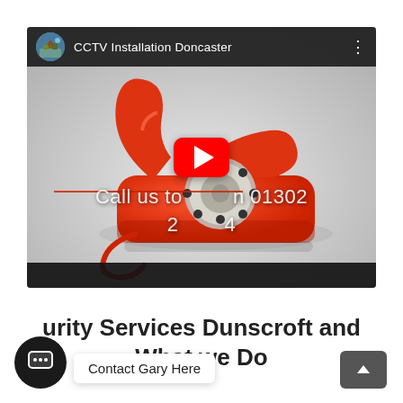[Figure (screenshot): YouTube video player showing a red rotary telephone. Video title bar reads 'CCTV Installation Doncaster' with channel avatar. Overlay text partially hidden by YouTube play button reads 'Call us to... n 01302 2...4'. Red play button centered on the video.]
...urity Services Dunscroft and What we Do
[Figure (other): Chat widget icon (dark circular button with speech bubble icon), 'Contact Gary Here' white bubble tooltip, and scroll-to-top dark button with up arrow]